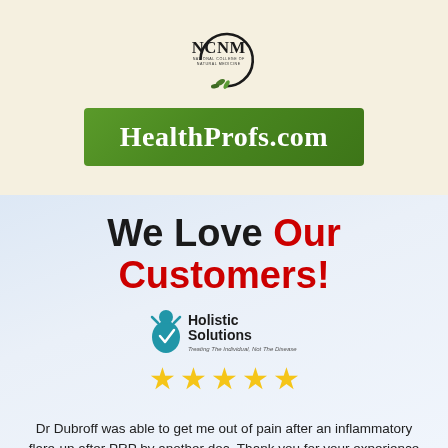[Figure (logo): NCNM - National College of Natural Medicine logo with circular leaf emblem]
[Figure (logo): HealthProfs.com green banner logo]
We Love Our Customers!
[Figure (logo): Holistic Solutions logo - blue water drop with figure, subtitle: Treating The Individual, Not The Disease]
[Figure (other): Five gold star rating]
Dr Dubroff was able to get me out of pain after an inflammatory flare-up after PRP by another doc. Thank you for your experience